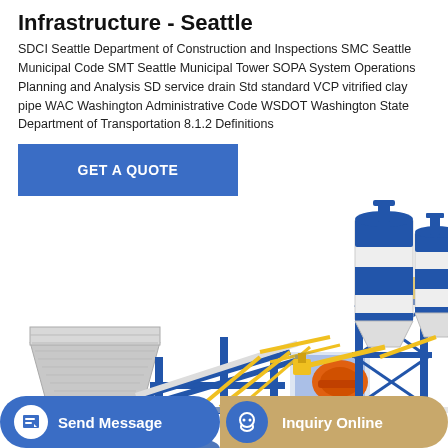Infrastructure - Seattle
SDCI Seattle Department of Construction and Inspections SMC Seattle Municipal Code SMT Seattle Municipal Tower SOPA System Operations Planning and Analysis SD service drain Std standard VCP vitrified clay pipe WAC Washington Administrative Code WSDOT Washington State Department of Transportation 8.1.2 Definitions
[Figure (other): Blue button with white text reading GET A QUOTE]
[Figure (photo): Industrial concrete batching plant with blue steel frame, white and blue cylindrical silos, yellow conveyor belts and structural elements, machinery platform with orange mixer unit]
[Figure (other): Footer bar with two buttons: 'Send Message' (blue, rounded, with document icon) and 'Inquiry Online' (tan/gold, with blue circular headset icon)]